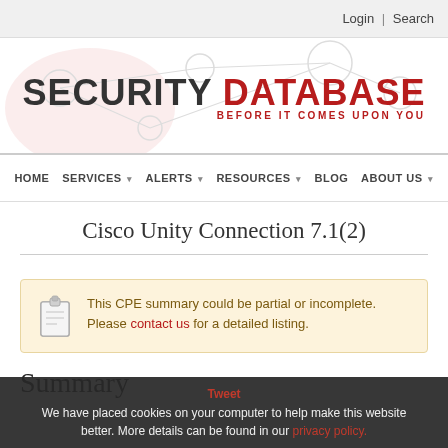Login | Search
[Figure (logo): Security Database logo with tagline BEFORE IT COMES UPON YOU]
HOME   SERVICES   ALERTS   RESOURCES   BLOG   ABOUT US
Cisco Unity Connection 7.1(2)
This CPE summary could be partial or incomplete. Please contact us for a detailed listing.
Summary
Tweet
We have placed cookies on your computer to help make this website better. More details can be found in our privacy policy.